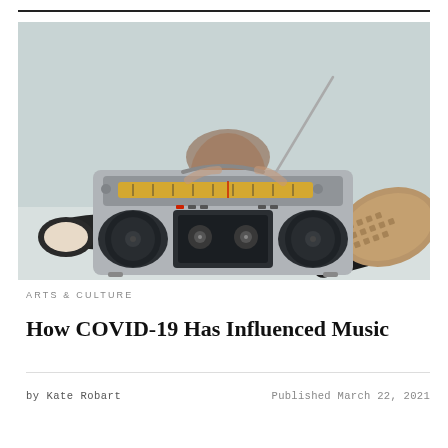[Figure (photo): Person lying on the floor with hands behind their head, legs propped up, wearing black clothes and sneakers, with a retro silver boombox/radio cassette player in the foreground. Light blue-grey background.]
ARTS & CULTURE
How COVID-19 Has Influenced Music
by Kate Robart
Published March 22, 2021